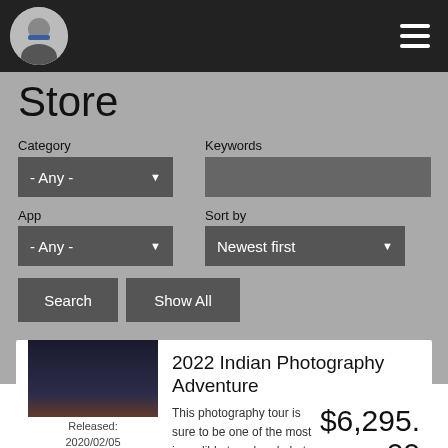Navigation header with avatar and hamburger menu
Store
Category
- Any -
Keywords
App
- Any -
Sort by
Newest first
Search
Show All
2022 Indian Photography Adventure
[Figure (photo): Silhouette of camels and handler at sunset in desert landscape]
Released: 2020/02/05
This photography tour is sure to be one of the most incredible travel and photo education experiences you've ever
$6,295.00